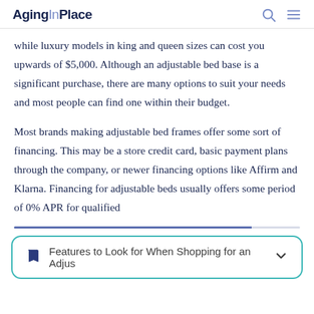AgingInPlace
while luxury models in king and queen sizes can cost you upwards of $5,000. Although an adjustable bed base is a significant purchase, there are many options to suit your needs and most people can find one within their budget.
Most brands making adjustable bed frames offer some sort of financing. This may be a store credit card, basic payment plans through the company, or newer financing options like Affirm and Klarna. Financing for adjustable beds usually offers some period of 0% APR for qualified
Features to Look for When Shopping for an Adjus